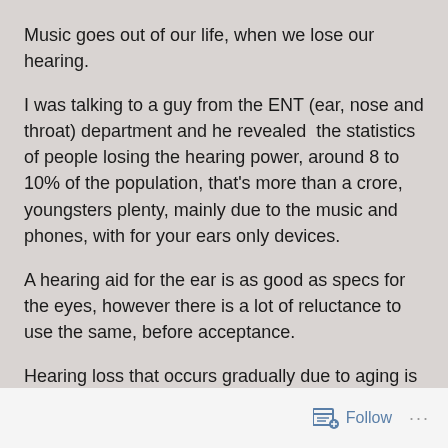Music goes out of our life, when we lose our hearing.
I was talking to a guy from the ENT (ear, nose and throat) department and he revealed  the statistics of people losing the hearing power, around 8 to 10% of the population, that's more than a crore, youngsters plenty, mainly due to the music and phones, with for your ears only devices.
A hearing aid for the ear is as good as specs for the eyes, however there is a lot of reluctance to use the same, before acceptance.
Hearing loss that occurs gradually due to aging is common.  For those older than 65, the number of people with some hearing loss is almost 1 in 2.
Follow ...